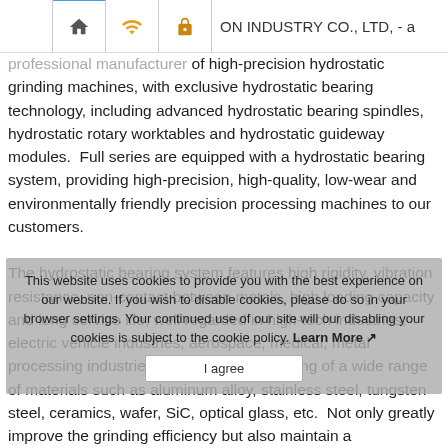ON INDUSTRY CO., LTD, - a professional manufacturer of high-precision hydrostatic grinding machines
professional manufacturer of high-precision hydrostatic grinding machines, with exclusive hydrostatic bearing technology, including advanced hydrostatic bearing spindles, hydrostatic rotary worktables and hydrostatic guideway modules. Full series are equipped with a hydrostatic bearing system, providing high-precision, high-quality, low-wear and environmentally friendly precision processing machines to our customers.

The hydrostatic bearing system features high rigidity, vibration resistance, non-contact between metals, high loading capacity and long service life, well regarded in high-tech industries, electric vehicle industries, aerospace, medical, metal processing industries, perfect for the grinding of a wide range of materials such as aluminum alloy, stainless steel, tungsten steel, ceramics, wafer, SiC, optical glass, etc. Not only greatly improve the grinding efficiency but also maintain a
This website uses cookies to provide you with the best experience on our website. If you wish to disable cookies, please do so in your browser settings. Your continued use of our site will our disabling your cookies is subject to the cookie policy. Learn More
I agree